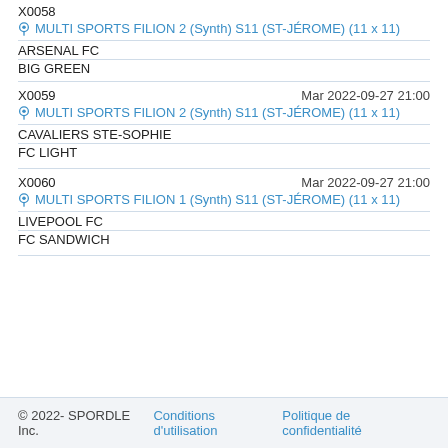X0058
MULTI SPORTS FILION 2 (Synth) S11 (ST-JÉROME) (11 x 11)
ARSENAL FC
BIG GREEN
X0059 Mar 2022-09-27 21:00
MULTI SPORTS FILION 2 (Synth) S11 (ST-JÉROME) (11 x 11)
CAVALIERS STE-SOPHIE
FC LIGHT
X0060 Mar 2022-09-27 21:00
MULTI SPORTS FILION 1 (Synth) S11 (ST-JÉROME) (11 x 11)
LIVEPOOL FC
FC SANDWICH
© 2022- SPORDLE Inc.  Conditions d'utilisation  Politique de confidentialité